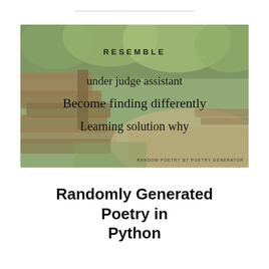[Figure (illustration): A forest path with wooden fence and lush green trees. Overlaid with poetry text: 'RESEMBLE' as title, then three lines: 'under judge assistant', 'Become finding differently', 'Learning solution why'. Bottom right watermark reads 'RANDOM POETRY BY POETRY GENERATOR'.]
Randomly Generated Poetry in Python